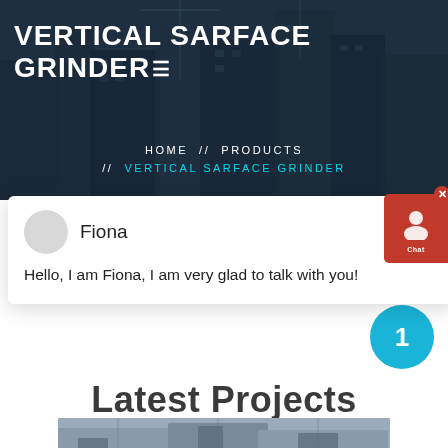VERTICAL SARFACE GRINDER
HOME // PRODUCTS // VERTICAL SARFACE GRINDER
Fiona
Hello, I am Fiona, I am very glad to talk with you!
Latest Projects
[Figure (photo): Industrial machinery/crusher equipment photo]
[Figure (photo): Construction building background in hero section]